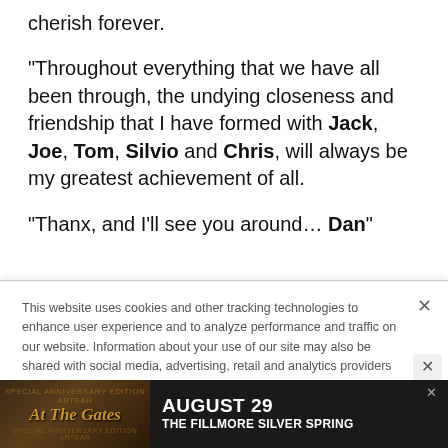cherish forever.
"Throughout everything that we have all been through, the undying closeness and friendship that I have formed with Jack, Joe, Tom, Silvio and Chris, will always be my greatest achievement of all.
"Thanx, and I'll see you around… Dan"
This website uses cookies and other tracking technologies to enhance user experience and to analyze performance and traffic on our website. Information about your use of our site may also be shared with social media, advertising, retail and analytics providers and partners. Privacy Policy
[Figure (infographic): Advertisement banner for 'At The Gates' concert on August 29 at The Fillmore Silver Spring]